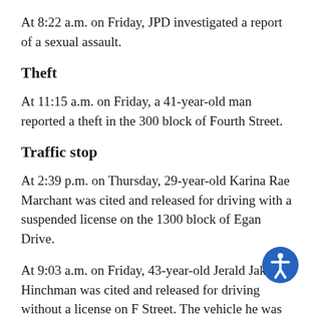At 8:22 a.m. on Friday, JPD investigated a report of a sexual assault.
Theft
At 11:15 a.m. on Friday, a 41-year-old man reported a theft in the 300 block of Fourth Street.
Traffic stop
At 2:39 p.m. on Thursday, 29-year-old Karina Rae Marchant was cited and released for driving with a suspended license on the 1300 block of Egan Drive.
At 9:03 a.m. on Friday, 43-year-old Jerald Jake Hinchman was cited and released for driving without a license on F Street. The vehicle he was driving was impounded.
At 11:27 p.m. on Friday, 22-year-old Alisi Tuilotuma